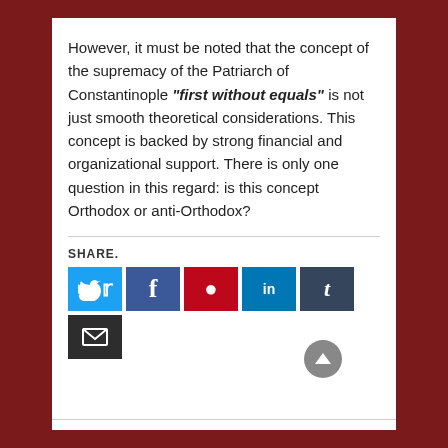However, it must be noted that the concept of the supremacy of the Patriarch of Constantinople "first without equals" is not just smooth theoretical considerations. This concept is backed by strong financial and organizational support. There is only one question in this regard: is this concept Orthodox or anti-Orthodox?
SHARE.